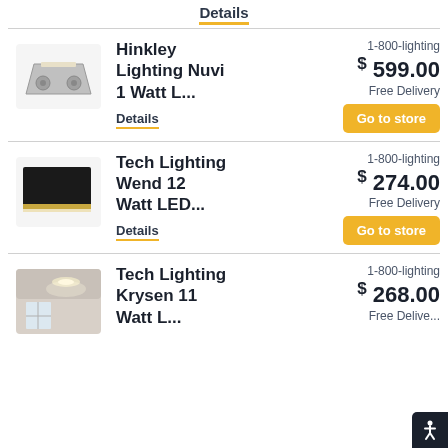Details
[Figure (photo): Hinkley Lighting Nuvi product image - small trapezoidal silver fixture]
Hinkley Lighting Nuvi 1 Watt L...
Details
1-800-lighting
$599.00
Free Delivery
Go to store
[Figure (photo): Tech Lighting Wend product image - black rectangular LED wall sconce]
Tech Lighting Wend 12 Watt LED...
Details
1-800-lighting
$274.00
Free Delivery
Go to store
[Figure (photo): Tech Lighting Krysen product image - interior room with ceiling lights]
Tech Lighting Krysen 11 Watt L...
1-800-lighting
$268.00
Free Delive...